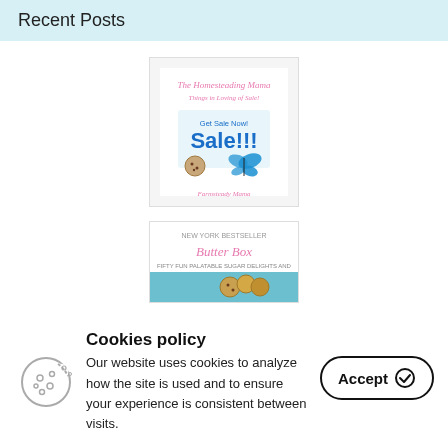Recent Posts
[Figure (photo): Book or blog post promotional image showing 'Sale!!!' text with a butterfly and cookie/cake icon, pink cursive title text at top and bottom]
[Figure (photo): Book cover image with cursive title text 'Butter Box' or similar, showing cookies/pastries on a teal background]
Cookies policy
Our website uses cookies to analyze how the site is used and to ensure your experience is consistent between visits.